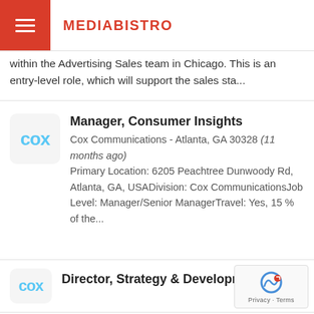MEDIABISTRO
within the Advertising Sales team in Chicago. This is an entry-level role, which will support the sales sta...
Manager, Consumer Insights
Cox Communications - Atlanta, GA 30328 (11 months ago) Primary Location: 6205 Peachtree Dunwoody Rd, Atlanta, GA, USADivision: Cox CommunicationsJob Level: Manager/Senior ManagerTravel: Yes, 15 % of the...
Director, Strategy & Development